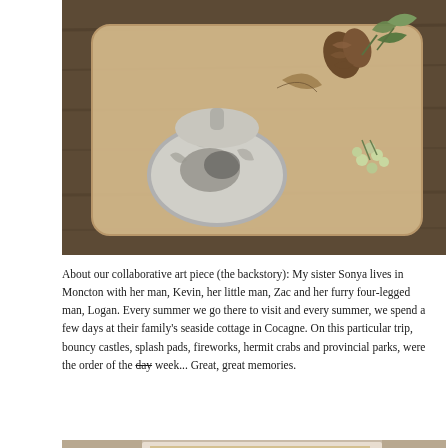[Figure (photo): Overhead photo of a wooden cutting board with a distressed metal bell/vessel, pine cones, green berries on stems, and dried leaves arranged on it. Dark wood surface underneath.]
About our collaborative art piece (the backstory): My sister Sonya lives in Moncton with her man, Kevin, her little man, Zac and her furry four-legged man, Logan. Every summer we go there to visit and every summer, we spend a few days at their family's seaside cottage in Cocagne. On this particular trip, bouncy castles, splash pads, fireworks, hermit crabs and provincial parks, were the order of the day week... Great, great memories.
[Figure (photo): Partial view of a second photo showing colorful artwork or craft items, partially cropped at bottom of page.]